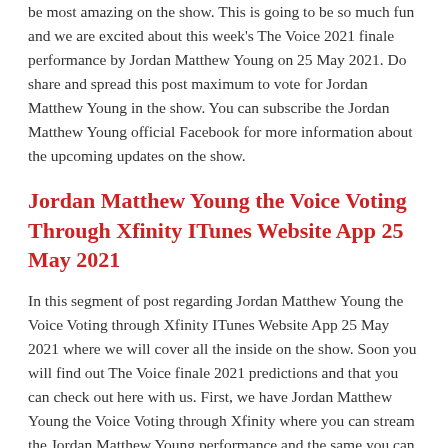be most amazing on the show. This is going to be so much fun and we are excited about this week's The Voice 2021 finale performance by Jordan Matthew Young on 25 May 2021. Do share and spread this post maximum to vote for Jordan Matthew Young in the show. You can subscribe the Jordan Matthew Young official Facebook for more information about the upcoming updates on the show.
Jordan Matthew Young the Voice Voting Through Xfinity ITunes Website App 25 May 2021
In this segment of post regarding Jordan Matthew Young the Voice Voting through Xfinity ITunes Website App 25 May 2021 where we will cover all the inside on the show. Soon you will find out The Voice finale 2021 predictions and that you can check out here with us. First, we have Jordan Matthew Young the Voice Voting through Xfinity where you can stream the Jordan Matthew Young performance and the same you can do on iTunes. You can